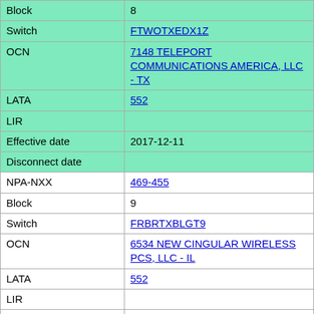| Field | Value |
| --- | --- |
| Block | 8 |
| Switch | FTWOTXEDX1Z |
| OCN | 7148 TELEPORT COMMUNICATIONS AMERICA, LLC - TX |
| LATA | 552 |
| LIR |  |
| Effective date | 2017-12-11 |
| Disconnect date |  |
| NPA-NXX | 469-455 |
| Block | 9 |
| Switch | FRBRTXBLGT9 |
| OCN | 6534 NEW CINGULAR WIRELESS PCS, LLC - IL |
| LATA | 552 |
| LIR |  |
| Effective date | 2018-01-27 |
| Disconnect date |  |
| NPA-NXX | 469-464 |
| Block | A |
| Switch | LWVLTXXCDS0 |
| OCN | 4344 FRONTIER SOUTHWEST |